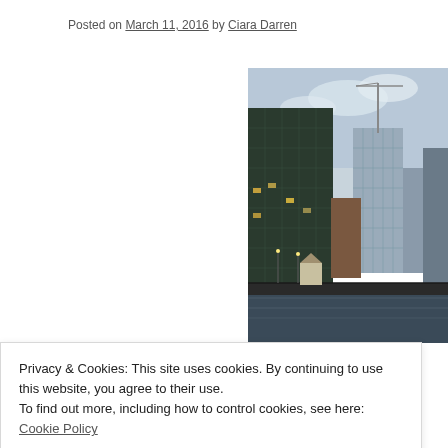Posted on March 11, 2016 by Ciara Darren
[Figure (photo): Photograph of Chicago city skyline at dusk/evening with skyscrapers, a river, a bridge, and a construction crane visible. One large modern glass building dominates the left. A tower under construction is visible in the center-right. A small historic-looking pavilion structure is near the water.]
Privacy & Cookies: This site uses cookies. By continuing to use this website, you agree to their use.
To find out more, including how to control cookies, see here: Cookie Policy
Close and accept